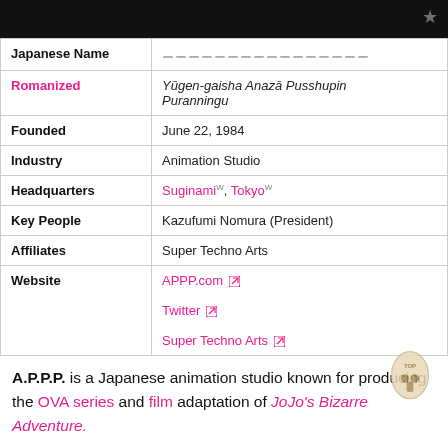[Figure (photo): Dark/black image at top of page, partial screenshot of media]
| Japanese Name | ゆうげんがいしゃあなざぷっしゅぴんぷらんにんぐ |
| Romanized | Yūgen-gaisha Anazā Pusshupin Puranningu |
| Founded | June 22, 1984 |
| Industry | Animation Studio |
| Headquarters | Suginami, Tokyo |
| Key People | Kazufumi Nomura (President) |
| Affiliates | Super Techno Arts |
| Website | APPP.com
Twitter
Super Techno Arts |
A.P.P.P. is a Japanese animation studio known for producing the OVA series and film adaptation of JoJo's Bizarre Adventure.
SUMMARY